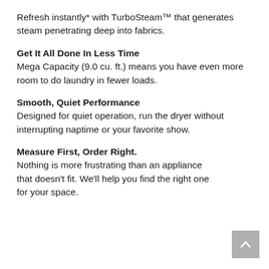Refresh instantly* with TurboSteam™ that generates steam penetrating deep into fabrics.
Get It All Done In Less Time
Mega Capacity (9.0 cu. ft.) means you have even more room to do laundry in fewer loads.
Smooth, Quiet Performance
Designed for quiet operation, run the dryer without interrupting naptime or your favorite show.
Measure First, Order Right.
Nothing is more frustrating than an appliance that doesn't fit. We'll help you find the right one for your space.